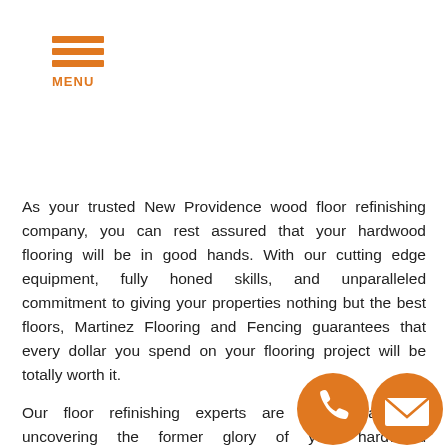MENU
As your trusted New Providence wood floor refinishing company, you can rest assured that your hardwood flooring will be in good hands. With our cutting edge equipment, fully honed skills, and unparalleled commitment to giving your properties nothing but the best floors, Martinez Flooring and Fencing guarantees that every dollar you spend on your flooring project will be totally worth it.
Our floor refinishing experts are fully capable of uncovering the former glory of your hardwood floor from when it was first installed. It will only take accurate planning and a
[Figure (illustration): Two circular contact icons at bottom right: a phone icon and an email envelope icon, both in orange.]